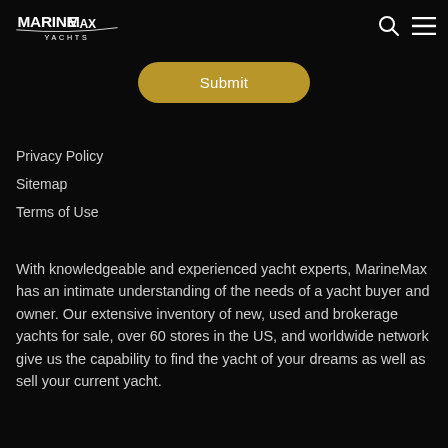MarineMax Yachts
Submit
Privacy Policy
Sitemap
Terms of Use
With knowledgeable and experienced yacht experts, MarineMax has an intimate understanding of the needs of a yacht buyer and owner. Our extensive inventory of new, used and brokerage yachts for sale, over 60 stores in the US, and worldwide network give us the capability to find the yacht of your dreams as well as sell your current yacht.